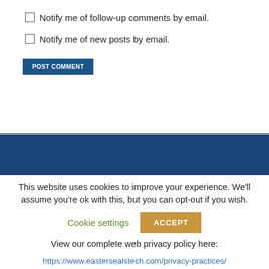Notify me of follow-up comments by email.
Notify me of new posts by email.
POST COMMENT
This website uses cookies to improve your experience. We'll assume you're ok with this, but you can opt-out if you wish.
Cookie settings   ACCEPT
View our complete web privacy policy here:
https://www.eastersealstech.com/privacy-practices/